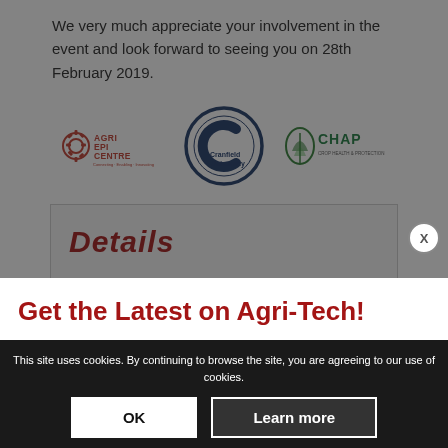We very much appreciate your involvement in the event and look forward to seeing you on 28th February 2019.
[Figure (logo): Three logos in a row: AgriEpiCentre (red gear/text logo), Cranfield University (circular C logo in dark blue), CHAP (green leaf/shield logo with text)]
Details
Get the Latest on Agri-Tech!
Interested in staying up to date with the latest in agricultural technology? Subscribe to our Agri EPI newsletter!
Email Address *
E.g. johnS...
Subscribe
This site uses cookies. By continuing to browse the site, you are agreeing to our use of cookies.